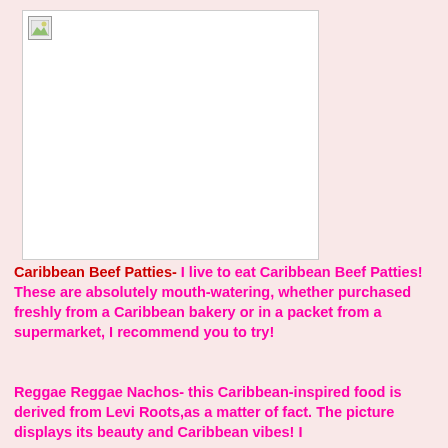[Figure (photo): A broken/missing image placeholder in upper left of a white rectangle]
Caribbean Beef Patties- I live to eat Caribbean Beef Patties! These are absolutely mouth-watering, whether purchased freshly from a Caribbean bakery or in a packet from a supermarket, I recommend you to try!
Reggae Reggae Nachos- this Caribbean-inspired food is derived from Levi Roots,as a matter of fact. The picture displays its beauty and Caribbean vibes! I